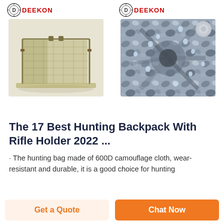[Figure (photo): DEEKON branded product photo of an olive green military mosquito net tent on white background]
[Figure (photo): DEEKON branded product photo of camouflage fabric with water droplets in blue-grey tones, with a small circular fabric swatch in top right corner]
The 17 Best Hunting Backpack With Rifle Holder 2022 ...
The hunting bag made of 600D camouflage cloth, wear-resistant and durable, it is a good choice for hunting